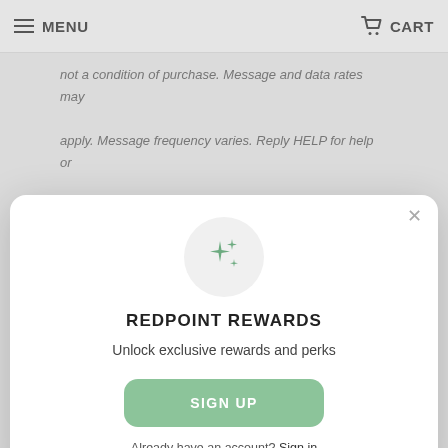MENU   CART
not a condition of purchase. Message and data rates may apply. Message frequency varies. Reply HELP for help or STOP to cancel. View our Privacy Policy and Terms of Service.
[Figure (screenshot): Green button bar partially visible behind modal]
[Figure (infographic): Redpoint Rewards modal popup with sparkles icon, SIGN UP button, and Sign in link]
REDPOINT REWARDS
Unlock exclusive rewards and perks
SIGN UP
Already have an account? Sign in